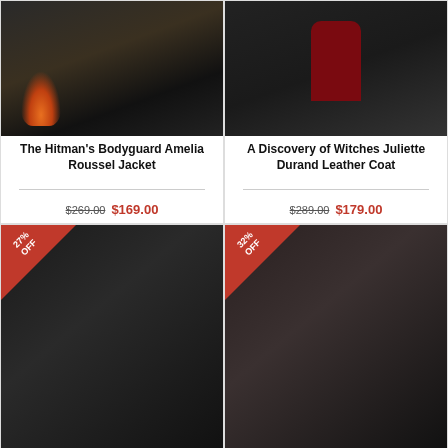[Figure (photo): Product photo of The Hitman's Bodyguard Amelia Roussel Jacket - action scene with fire]
The Hitman's Bodyguard Amelia Roussel Jacket
$269.00 $169.00
[Figure (photo): Product photo of A Discovery of Witches Juliette Durand Leather Coat - woman in dark coat with red shirt]
A Discovery of Witches Juliette Durand Leather Coat
$289.00 $179.00
[Figure (photo): Product photo with 27% OFF badge - woman in leather jacket standing on street]
[Figure (photo): Product photo with 32% OFF badge - woman in shearling vest in dark interior]